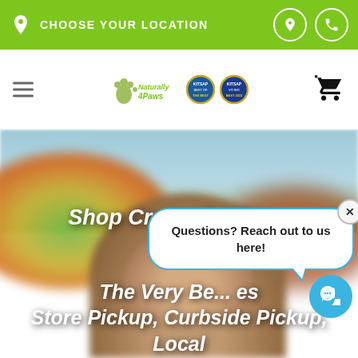CHOOSE YOUR LOCATION
[Figure (logo): Naturally 4 Paws logo with two KITSAP award badges]
[Figure (photo): Blurred outdoor autumn scene with a dog in the foreground, colorful trees and hills in background]
Shop Crates for Dogs
The Very Best Dog Crates Store Pickup, Curbside Pickup, Local
Questions? Reach out to us here!